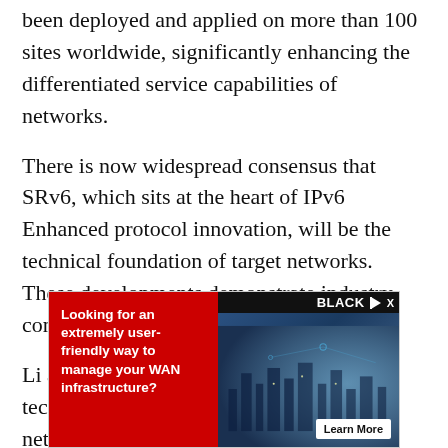been deployed and applied on more than 100 sites worldwide, significantly enhancing the differentiated service capabilities of networks.
There is now widespread consensus that SRv6, which sits at the heart of IPv6 Enhanced protocol innovation, will be the technical foundation of target networks. These developments demonstrate industry confidence in SRv6.
Li also elaborated on other emerging technologies such as application-aware networking (APN) and computing-aware networking (CAN) — developed along with the [truncated] of in-depth convergence between clouds and...
[Figure (other): Advertisement banner for Black Box network management. Red left panel with white text 'Looking for an extremely user-friendly way to manage your WAN infrastructure?' Right panel shows aerial city photo with 'BLACK BOX' branding and 'Learn More' button.]